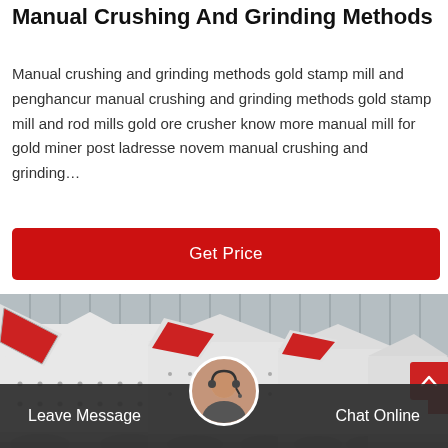Manual Crushing And Grinding Methods
Manual crushing and grinding methods gold stamp mill and penghancur manual crushing and grinding methods gold stamp mill and rod mills gold ore crusher know more manual mill for gold miner post ladresse novem manual crushing and grinding…
Get Price
[Figure (photo): Industrial hammer mill / crusher machines shown in a row, white and red colored, with red-lined feed openings, photographed outdoors against a grey corrugated metal wall background.]
Leave Message
Chat Online